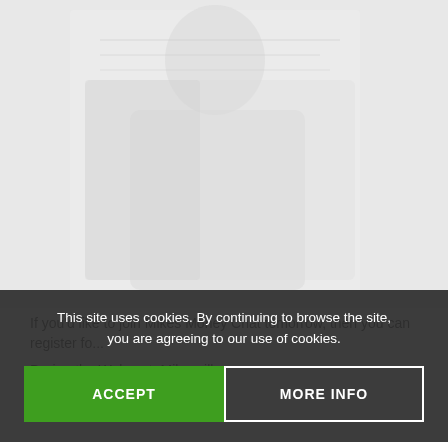[Figure (photo): Background image showing a person or graphic, partially visible and faded]
If you'd like to join Mikes Money Chat tomorrow, then you can register fo...
During the Webcast, Mike will...
This site uses cookies. By continuing to browse the site, you are agreeing to our use of cookies.